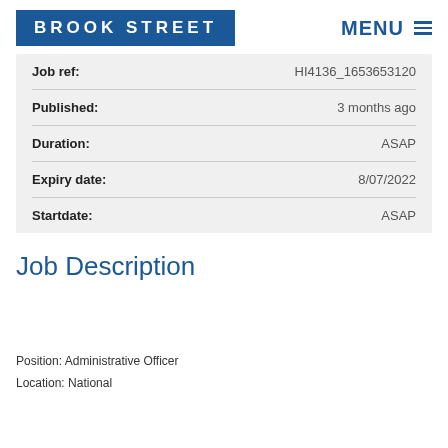BROOK STREET
| Field | Value |
| --- | --- |
| Job ref: | HI4136_1653653120 |
| Published: | 3 months ago |
| Duration: | ASAP |
| Expiry date: | 8/07/2022 |
| Startdate: | ASAP |
Job Description
Position: Administrative Officer
Location: National